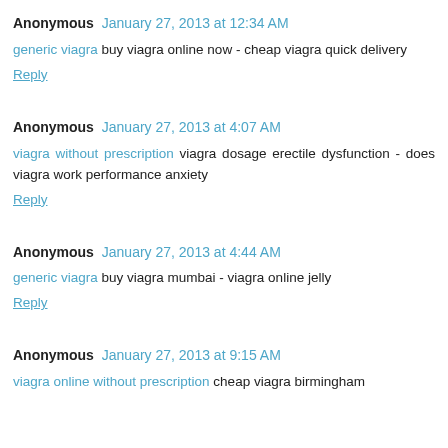Anonymous  January 27, 2013 at 12:34 AM
generic viagra buy viagra online now - cheap viagra quick delivery
Reply
Anonymous  January 27, 2013 at 4:07 AM
viagra without prescription viagra dosage erectile dysfunction - does viagra work performance anxiety
Reply
Anonymous  January 27, 2013 at 4:44 AM
generic viagra buy viagra mumbai - viagra online jelly
Reply
Anonymous  January 27, 2013 at 9:15 AM
viagra online without prescription cheap viagra birmingham